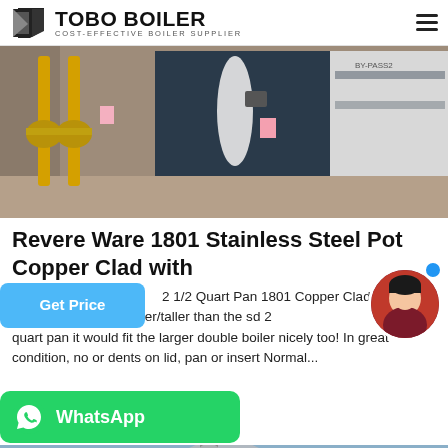TOBO BOILER COST-EFFECTIVE BOILER SUPPLIER
[Figure (photo): Industrial boilers in a facility room with yellow gas pipes and dark blue panels]
Revere Ware 1801 Stainless Steel Pot Copper Clad with
2 1/2 Quart Pan 1801 Copper Clad Bottom is one is a little bit larger/taller than the std 2 quart pan it would fit the larger double boiler nicely too! In great condition, no dents on lid, pan or insert Normal...
[Figure (photo): Industrial boiler equipment photographed from below against a blue sky]